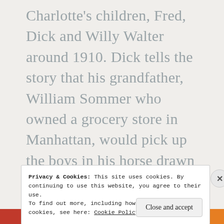Charlotte's children, Fred, Dick and Willy Walter around 1910. Dick tells the story that his grandfather, William Sommer who owned a grocery store in Manhattan, would pick up the boys in his horse drawn delivery carriage and take the boys with him as he took baskets of groceries to his high class clients on Long Island for the summer. Perhaps the basket in this picture is from the children's grandfather's store.
Privacy & Cookies: This site uses cookies. By continuing to use this website, you agree to their use.
To find out more, including how to control cookies, see here: Cookie Policy
Close and accept